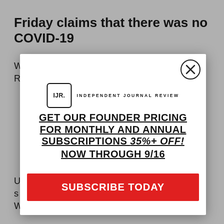Friday claims that there was no COVID-19
W... R...
U... S... W...
[Figure (screenshot): IJR (Independent Journal Review) subscription modal popup with founder pricing offer: GET OUR FOUNDER PRICING FOR MONTHLY AND ANNUAL SUBSCRIPTIONS 35%+ OFF! NOW THROUGH 9/16, with a red SUBSCRIBE TODAY button and an X close button.]